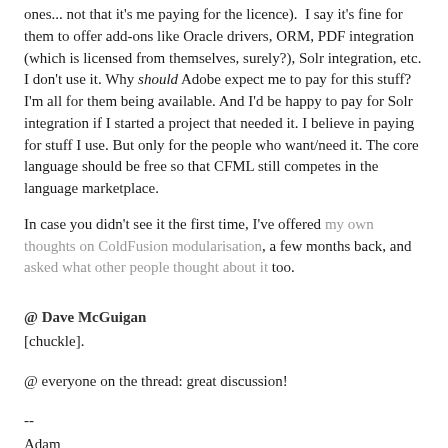ones... not that it's me paying for the licence).  I say it's fine for them to offer add-ons like Oracle drivers, ORM, PDF integration (which is licensed from themselves, surely?), Solr integration, etc. I don't use it. Why should Adobe expect me to pay for this stuff? I'm all for them being available. And I'd be happy to pay for Solr integration if I started a project that needed it. I believe in paying for stuff I use. But only for the people who want/need it. The core language should be free so that CFML still competes in the language marketplace.
In case you didn't see it the first time, I've offered my own thoughts on ColdFusion modularisation, a few months back, and asked what other people thought about it too.
@ Dave McGuigan
[chuckle].
@ everyone on the thread: great discussion!
--
Adam